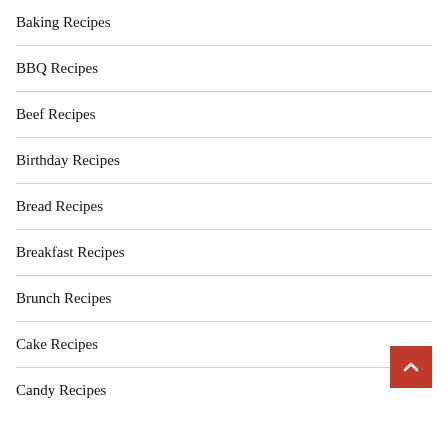Baking Recipes
BBQ Recipes
Beef Recipes
Birthday Recipes
Bread Recipes
Breakfast Recipes
Brunch Recipes
Cake Recipes
Candy Recipes